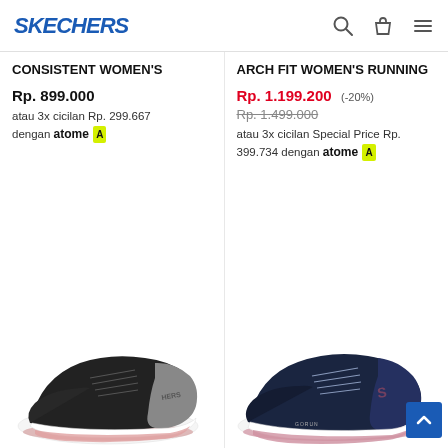SKECHERS
CONSISTENT WOMEN'S
Rp. 899.000
atau 3x cicilan Rp. 299.667 dengan atome
ARCH FIT Women's Running
Rp. 1.199.200 (-20%) Rp. 1.499.000
atau 3x cicilan Special Price Rp. 399.734 dengan atome
[Figure (photo): Black Skechers women's running shoe with pink sole and gray heel panel]
[Figure (photo): Navy blue Skechers women's running shoe with pink sole and S logo]